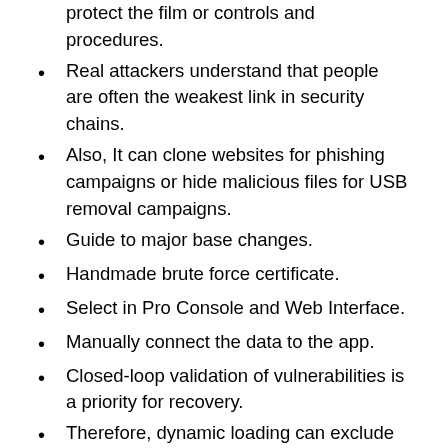protect the film or controls and procedures.
Real attackers understand that people are often the weakest link in security chains.
Also, It can clone websites for phishing campaigns or hide malicious files for USB removal campaigns.
Guide to major base changes.
Handmade brute force certificate.
Select in Pro Console and Web Interface.
Manually connect the data to the app.
Closed-loop validation of vulnerabilities is a priority for recovery.
Therefore, dynamic loading can exclude the best antivirus solutions.
System Requirements: